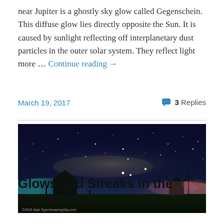near Jupiter is a ghostly sky glow called Gegenschein. This diffuse glow lies directly opposite the Sun. It is caused by sunlight reflecting off interplanetary dust particles in the outer solar system. They reflect light more … Continue reading →
March 19, 2017
3 Replies
[Figure (photo): Panoramic night sky photograph showing the Milky Way arching over a dark prairie landscape with a barn silhouette on the left and a farmstead on the right. Colorful twilight glows on the horizon in pink and teal, with stars and the Milky Way visible overhead. Copyright 2016 Alan Dyer/AmazingSky.com]
Glows and Streaks in the Spring Sky